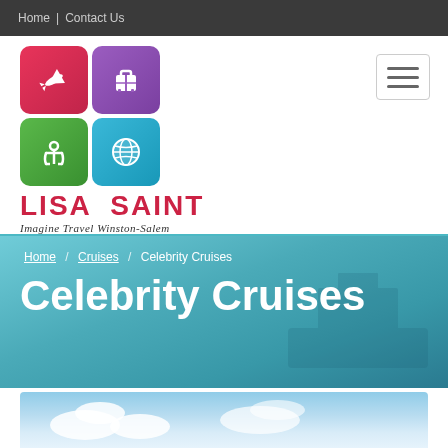Home | Contact Us
[Figure (logo): Lisa Saint travel agency logo with 2x2 grid of icons (airplane, suitcase, anchor, globe) and text LISA SAINT / Imagine Travel Winston-Salem]
Home / Cruises / Celebrity Cruises
Celebrity Cruises
[Figure (photo): Partial photo showing blue sky with white clouds, bottom edge of page]